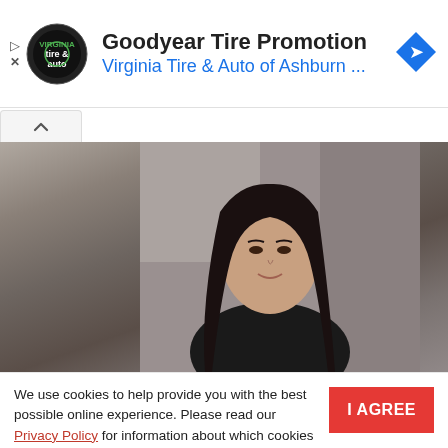[Figure (screenshot): Advertisement banner for Goodyear Tire Promotion from Virginia Tire & Auto of Ashburn, with circular logo on left and blue navigation diamond icon on right]
Goodyear Tire Promotion
Virginia Tire & Auto of Ashburn ...
[Figure (photo): Video thumbnail showing a woman with long dark hair in a black top against a blurred interior background]
We use cookies to help provide you with the best possible online experience. Please read our Privacy Policy for information about which cookies we use and what information we collect on our site. By continuing to use this site, you agree that we may store and access cookies on your device.